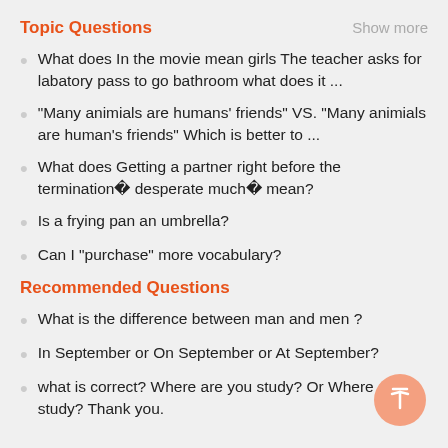Topic Questions
What does In the movie mean girls The teacher asks for labatory pass to go bathroom what does it ...
"Many animials are humans' friends" VS. "Many animials are human's friends" Which is better to ...
What does Getting a partner right before the terminationâdesperate muchâ mean?
Is a frying pan an umbrella?
Can I "purchase" more vocabulary?
Recommended Questions
What is the difference between man and men ?
In September or On September or At September?
what is correct? Where are you study? Or Where do study? Thank you.